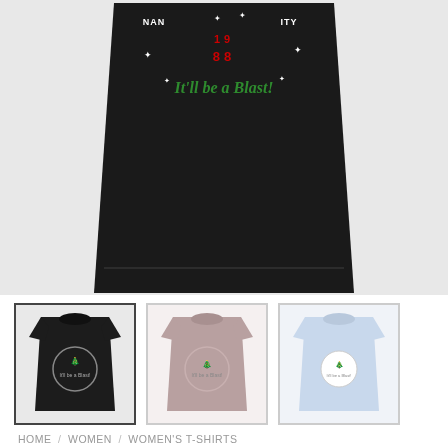[Figure (photo): Close-up of a black t-shirt with a Christmas party graphic showing '1988', 'It'll be a Blast!' text in green script, with decorative stars and graphics on a dark background.]
[Figure (photo): Three thumbnail images of t-shirts: black, mauve/taupe, and light blue, each featuring a Nakatomi Corporation Christmas Party graphic with a Christmas tree design.]
HOME / WOMEN / WOMEN'S T-SHIRTS
Nakatomi Corporation Christmas Party 1988 Women's T-shirt